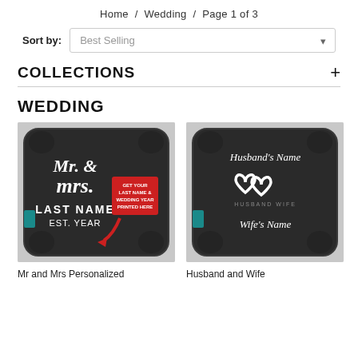Home / Wedding / Page 1 of 3
Sort by: Best Selling
COLLECTIONS +
WEDDING
[Figure (photo): Black decorative pillow with Mr. & Mrs. LAST NAME EST. YEAR text and a red promotional badge saying GET YOUR LAST NAME & WEDDING YEAR PRINTED HERE]
[Figure (photo): Black decorative pillow with Husband's Name and Wife's Name text and two interlinked hearts design]
Mr and Mrs Personalized
Husband and Wife